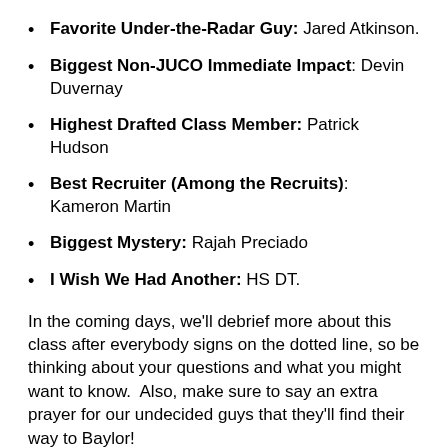Favorite Under-the-Radar Guy: Jared Atkinson.
Biggest Non-JUCO Immediate Impact: Devin Duvernay
Highest Drafted Class Member: Patrick Hudson
Best Recruiter (Among the Recruits): Kameron Martin
Biggest Mystery: Rajah Preciado
I Wish We Had Another: HS DT.
In the coming days, we'll debrief more about this class after everybody signs on the dotted line, so be thinking about your questions and what you might want to know.  Also, make sure to say an extra prayer for our undecided guys that they'll find their way to Baylor!